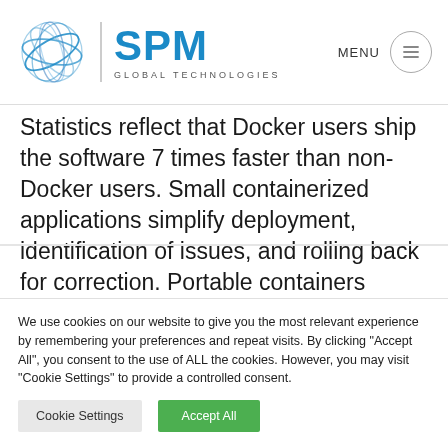[Figure (logo): SPM Global Technologies logo with blue orbital sphere graphic and blue SPM text with GLOBAL TECHNOLOGIES subtitle]
Statistics reflect that Docker users ship the software 7 times faster than non-Docker users. Small containerized applications simplify deployment, identification of issues, and rolling back for correction. Portable containers
We use cookies on our website to give you the most relevant experience by remembering your preferences and repeat visits. By clicking "Accept All", you consent to the use of ALL the cookies. However, you may visit "Cookie Settings" to provide a controlled consent.